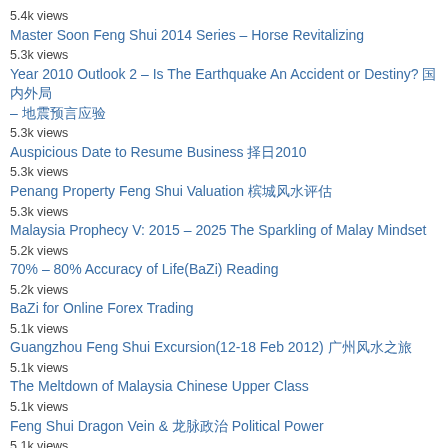5.4k views
Master Soon Feng Shui 2014 Series – Horse Revitalizing
5.3k views
Year 2010 Outlook 2 – Is The Earthquake An Accident or Destiny? 国内外局 – 地震预言应验
5.3k views
Auspicious Date to Resume Business 择日2010
5.3k views
Penang Property Feng Shui Valuation 槟城风水评估
5.3k views
Malaysia Prophecy V: 2015 – 2025 The Sparkling of Malay Mindset
5.2k views
70% – 80% Accuracy of Life(BaZi) Reading
5.2k views
BaZi for Online Forex Trading
5.1k views
Guangzhou Feng Shui Excursion(12-18 Feb 2012) 广州风水之旅
5.1k views
The Meltdown of Malaysia Chinese Upper Class
5.1k views
Feng Shui Dragon Vein & 龙脉政治 Political Power
5.1k views
Decode Najib Razak Destiny III
5.1k views
Penang Feng Shui 3 – Mr Pot Cafe  槟城  凤凰传说茶餐厅
5.1k views
Dragon of Penang Island